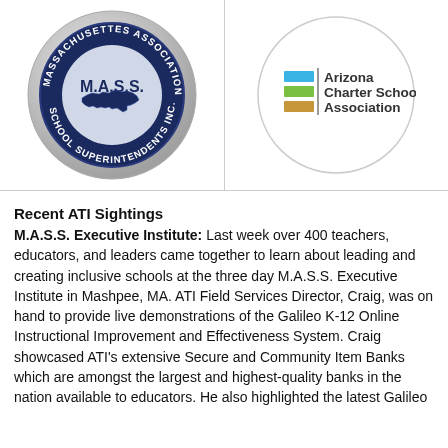[Figure (logo): M.A.S.S. Massachusetts Association of School Superintendents Inc. badge logo — circular dark navy blue badge with state outline and text around the rim]
[Figure (logo): Arizona Charter Schools Association logo — circular border containing three colored bars (blue, green, tan/brown) beside the text 'Arizona Charter Schools Association']
Recent ATI Sightings
M.A.S.S. Executive Institute: Last week over 400 teachers, educators, and leaders came together to learn about leading and creating inclusive schools at the three day M.A.S.S. Executive Institute in Mashpee, MA. ATI Field Services Director, Craig, was on hand to provide live demonstrations of the Galileo K-12 Online Instructional Improvement and Effectiveness System. Craig showcased ATI's extensive Secure and Community Item Banks which are amongst the largest and highest-quality banks in the nation available to educators. He also highlighted the latest Galileo